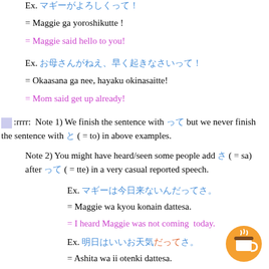Ex. [Japanese text]
= Maggie ga yoroshikutte !
= Maggie said hello to you!
Ex. [Japanese text]
= Okaasana ga nee, hayaku okinasaitte!
= Mom said get up already!
Note 1) We finish the sentence with tte but we never finish the sentence with to ( = to) in above examples.
Note 2) You might have heard/seen some people add sa ( = sa) after tte ( = tte) in a very casual reported speech.
Ex. [Japanese text]
= Maggie wa kyou konain dattesa.
= I heard Maggie was not coming today.
Ex. [Japanese text]
= Ashita wa ii otenki dattesa.